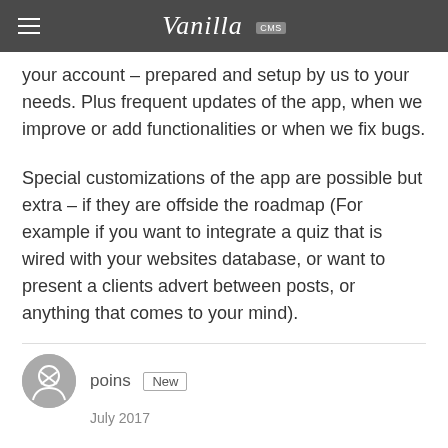Vanilla CMS
your account – prepared and setup by us to your needs. Plus frequent updates of the app, when we improve or add functionalities or when we fix bugs.
Special customizations of the app are possible but extra – if they are offside the roadmap (For example if you want to integrate a quiz that is wired with your websites database, or want to present a clients advert between posts, or anything that comes to your mind).
poins New
July 2017
@phreak , thanks for the help, but it is too expensive for me. Thanks.